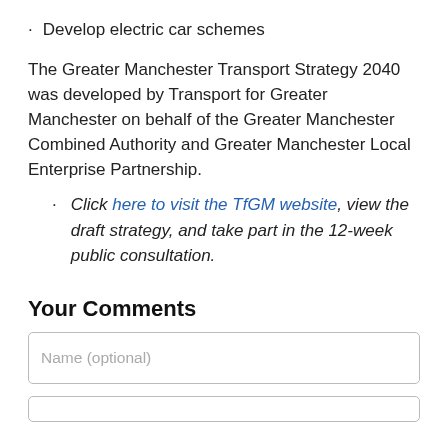Develop electric car schemes
The Greater Manchester Transport Strategy 2040 was developed by Transport for Greater Manchester on behalf of the Greater Manchester Combined Authority and Greater Manchester Local Enterprise Partnership.
Click here to visit the TfGM website, view the draft strategy, and take part in the 12-week public consultation.
Your Comments